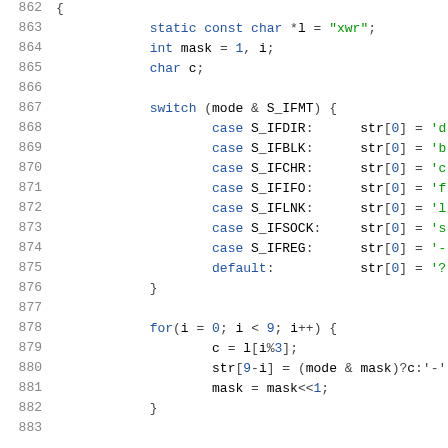[Figure (screenshot): Source code listing lines 862-883 showing C code for a file mode string function. Includes variable declarations, a switch statement on mode & S_IFMT with cases for S_IFDIR, S_IFBLK, S_IFCHR, S_IFIFO, S_IFLNK, S_IFSOCK, S_IFREG, and default, followed by a for loop from 0 to 9 computing permission characters.]